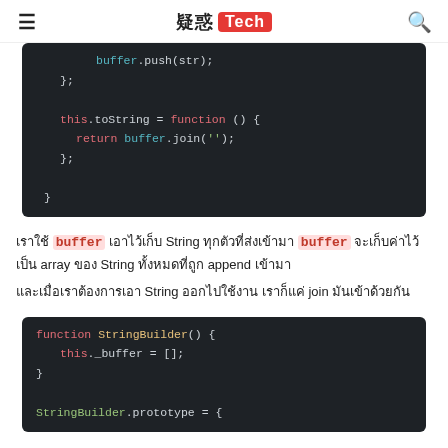疑惑 Tech
[Figure (screenshot): Dark-themed code block showing JavaScript code: buffer.push(str); }; this.toString = function () { return buffer.join(''); }; }]
เราใช้ buffer เอาไว้เก็บ String ทุกตัวที่ส่งเข้ามา buffer จะเก็บค่าไว้เป็น array ของ String ทั้งหมดที่ถูก append เข้ามา และเมื่อเราต้องการเอา String ออกไปใช้งาน เราก็แค่ join มันเข้าด้วยกัน
[Figure (screenshot): Dark-themed code block showing JavaScript code: function StringBuilder() { this._buffer = []; } StringBuilder.prototype = {]